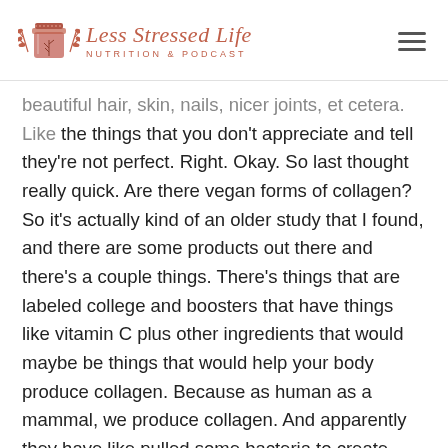[Figure (logo): Less Stressed Life Nutrition & Podcast logo with illustrated mason jar and botanical elements]
beautiful hair, skin, nails, nicer joints, et cetera. Like the things that you don't appreciate and tell they're not perfect. Right. Okay. So last thought really quick. Are there vegan forms of collagen? So it's actually kind of an older study that I found, and there are some products out there and there's a couple things. There's things that are labeled college and boosters that have things like vitamin C plus other ingredients that would maybe be things that would help your body produce collagen. Because as human as a mammal, we produce collagen. And apparently they have like pulled some bacteria to create collagen.